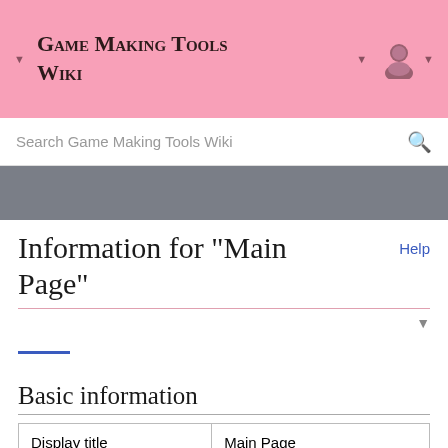Game Making Tools Wiki
Search Game Making Tools Wiki
Information for "Main Page"
Help
Basic information
| Display title | Main Page |
| Default sort key | Main Page |